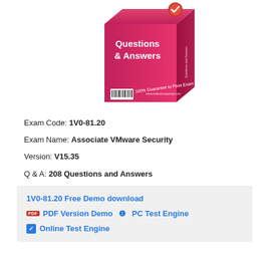[Figure (illustration): 3D product box with red/pink gradient showing 'Questions & Answers' text and '100% Guarantee to Pass Exam' with a checkmark badge and barcode]
Exam Code: 1V0-81.20
Exam Name: Associate VMware Security
Version: V15.35
Q & A: 208 Questions and Answers
1V0-81.20 Free Demo download
PDF Version Demo  ❶  PC Test Engine
❶  Online Test Engine